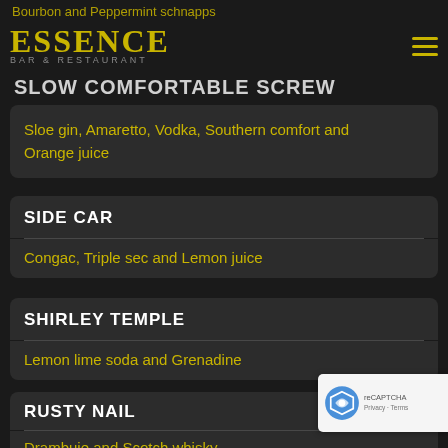Bourbon and Peppermint schnapps
[Figure (logo): Essence Bar & Restaurant logo with hamburger menu icon]
SLOW COMFORTABLE SCREW
Sloe gin, Amaretto, Vodka, Southern comfort and Orange juice
SIDE CAR
Congac, Triple sec and Lemon juice
SHIRLEY TEMPLE
Lemon lime soda and Grenadine
RUSTY NAIL
Drambuie and Scotch whisky
PURPLE RAIN